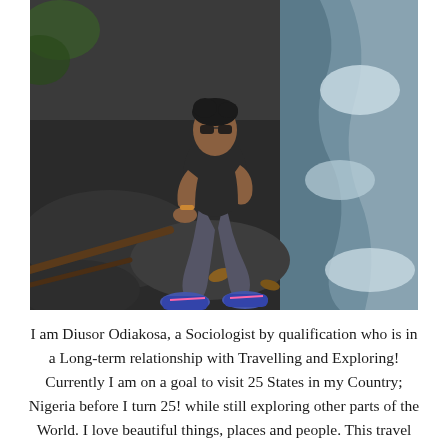[Figure (photo): A young woman wearing sunglasses, a dark t-shirt, grey jeans, and bright pink-blue sneakers sits on dark wet rocks beside a cascading waterfall in a lush forest setting.]
I am Diusor Odiakosa, a Sociologist by qualification who is in a Long-term relationship with Travelling and Exploring! Currently I am on a goal to visit 25 States in my Country; Nigeria before I turn 25! while still exploring other parts of the World. I love beautiful things, places and people. This travel